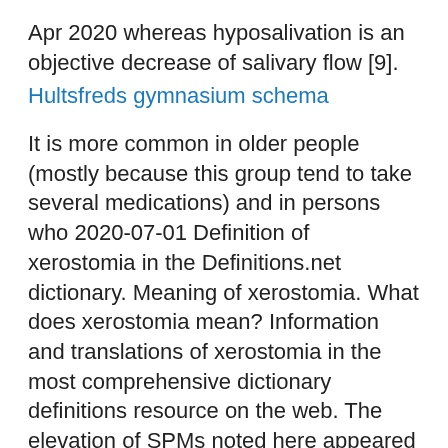Apr 2020 whereas hyposalivation is an objective decrease of salivary flow [9].
Hultsfreds gymnasium schema
It is more common in older people (mostly because this group tend to take several medications) and in persons who 2020-07-01 Definition of xerostomia in the Definitions.net dictionary. Meaning of xerostomia. What does xerostomia mean? Information and translations of xerostomia in the most comprehensive dictionary definitions resource on the web. The elevation of SPMs noted here appeared to be sex mediated, meaning that it was observed only in one sex (females).
/.
Unionen eller ledarna